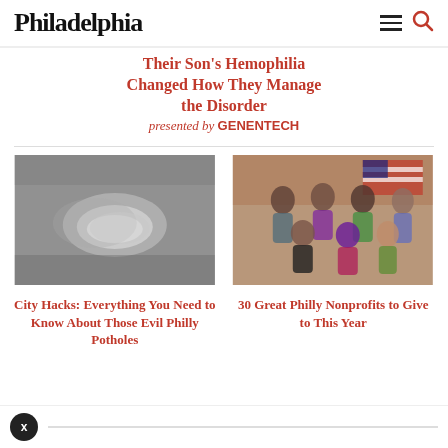Philadelphia
Their Son's Hemophilia Changed How They Manage the Disorder presented by GENENTECH
[Figure (photo): Close-up black and white photo of a pothole in asphalt road]
City Hacks: Everything You Need to Know About Those Evil Philly Potholes
[Figure (photo): Group photo of diverse people posing together indoors with an American flag in the background]
30 Great Philly Nonprofits to Give to This Year